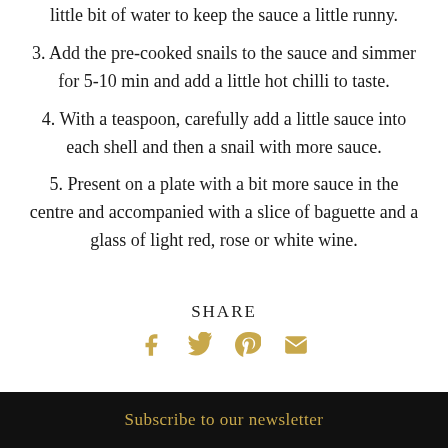little bit of water to keep the sauce a little runny.
3. Add the pre-cooked snails to the sauce and simmer for 5-10 min and add a little hot chilli to taste.
4. With a teaspoon, carefully add a little sauce into each shell and then a snail with more sauce.
5. Present on a plate with a bit more sauce in the centre and accompanied with a slice of baguette and a glass of light red, rose or white wine.
SHARE
[Figure (infographic): Social share icons: Facebook, Twitter, Pinterest, Email in gold/yellow color]
Subscribe to our newsletter